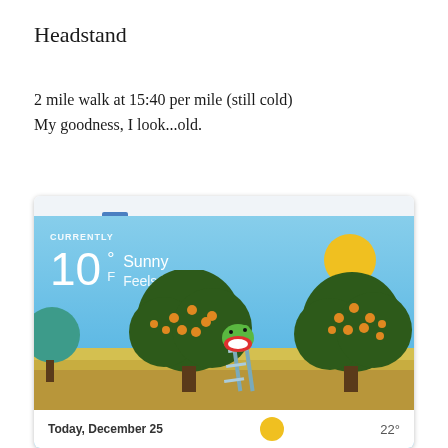Headstand
2 mile walk at 15:40 per mile (still cold)
My goodness, I look...old.
[Figure (screenshot): Screenshot of a weather app showing: CURRENTLY 10° F, Sunny, Feels like -2°. Animated illustration with trees and a frog on a ladder. Bottom shows Today, December 25 with 22°.]